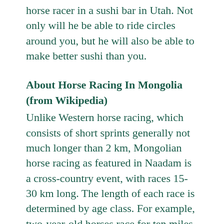horse racer in a sushi bar in Utah. Not only will he be able to ride circles around you, but he will also be able to make better sushi than you.
About Horse Racing In Mongolia (from Wikipedia)
Unlike Western horse racing, which consists of short sprints generally not much longer than 2 km, Mongolian horse racing as featured in Naadam is a cross-country event, with races 15-30 km long. The length of each race is determined by age class. For example, two-year-old horses race for ten miles and seven-year-olds for seventeen miles. Up to 1000 horses from any part of Mongolia can be